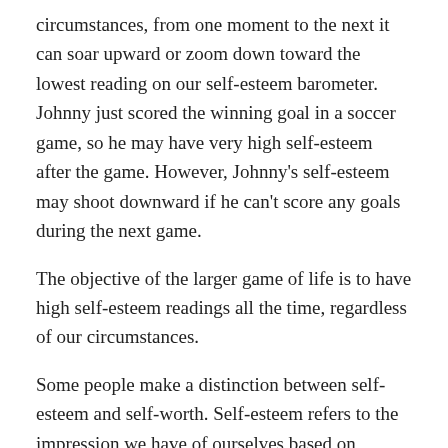circumstances, from one moment to the next it can soar upward or zoom down toward the lowest reading on our self-esteem barometer. Johnny just scored the winning goal in a soccer game, so he may have very high self-esteem after the game. However, Johnny's self-esteem may shoot downward if he can't score any goals during the next game.
The objective of the larger game of life is to have high self-esteem readings all the time, regardless of our circumstances.
Some people make a distinction between self-esteem and self-worth. Self-esteem refers to the impression we have of ourselves based on performance and response to life's challenges.
Our intrinsic value or self-worth, on the other hand, is a core value that simply is. It does not depend on behavior